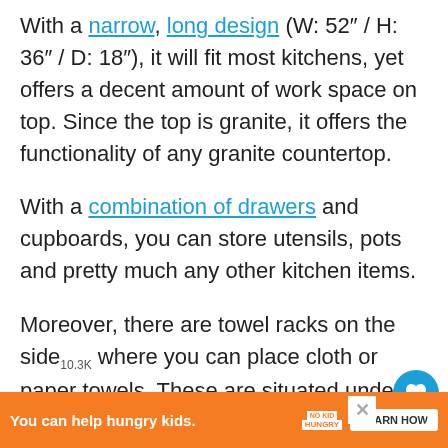With a narrow, long design (W: 52" / H: 36" / D: 18"), it will fit most kitchens, yet offers a decent amount of work space on top. Since the top is granite, it offers the functionality of any granite countertop.
With a combination of drawers and cupboards, you can store utensils, pots and pretty much any other kitchen items.
Moreover, there are towel racks on the side where you can place cloth or paper towels. These are situated under small side spice ra... and...
You can help hungry kids. NO KID HUNGRY LEARN HOW